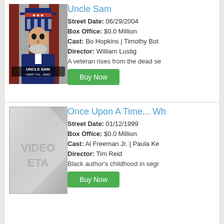[Figure (photo): Movie poster for Uncle Sam showing an undead Uncle Sam figure with text 'UNCLE SAM I WANT YOU... DEAD!']
Uncle Sam
Street Date: 06/29/2004
Box Office: $0.0 Million
Cast: Bo Hopkins | Timothy Bot
Director: William Lustig
A veteran rises from the dead se
Buy Now
[Figure (photo): Placeholder image with VIDEO ETA watermark text in grey]
Once Upon A Time... Wh
Street Date: 01/12/1999
Box Office: $0.0 Million
Cast: Al Freeman Jr. | Paula Ke
Director: Tim Reid
Black author's childhood in segr
Buy Now